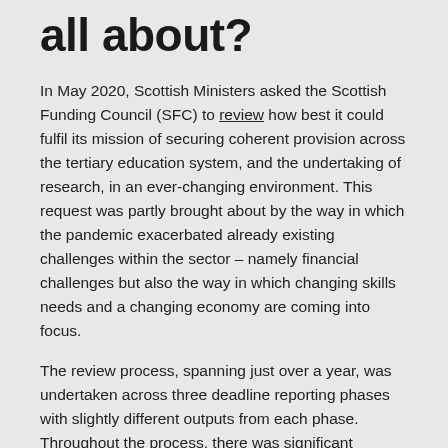all about?
In May 2020, Scottish Ministers asked the Scottish Funding Council (SFC) to review how best it could fulfil its mission of securing coherent provision across the tertiary education system, and the undertaking of research, in an ever-changing environment. This request was partly brought about by the way in which the pandemic exacerbated already existing challenges within the sector – namely financial challenges but also the way in which changing skills needs and a changing economy are coming into focus.
The review process, spanning just over a year, was undertaken across three deadline reporting phases with slightly different outputs from each phase.  Throughout the process, there was significant stakeholder engagement with over 100